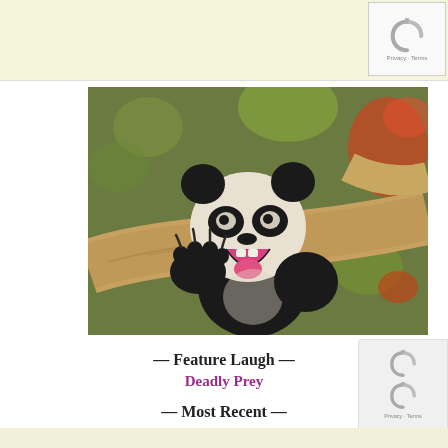[Figure (photo): Baby giant panda cub with mouth open wide, sitting on a tree branch, with colorful blurred background of oranges and greens]
— Feature Laugh —
Deadly Prey
— Most Recent —
Male vs Female